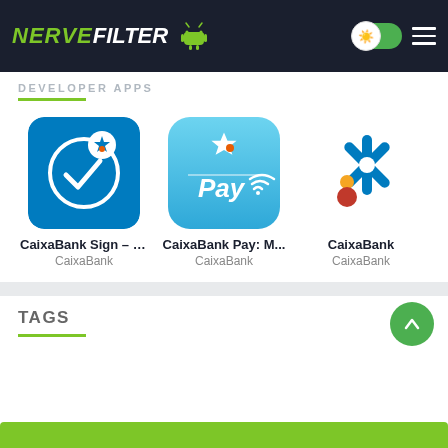[Figure (screenshot): NerveFilter website header with logo, toggle button, and hamburger menu on dark background]
DEVELOPER APPS
[Figure (logo): CaixaBank Sign app icon - blue background with white circle and checkmark, CaixaBank star logo]
CaixaBank Sign – D...
CaixaBank
[Figure (logo): CaixaBank Pay app icon - light blue rounded square with Pay and wifi symbol text]
CaixaBank Pay: M...
CaixaBank
[Figure (logo): CaixaBank app icon - white background with blue star logo and orange/red dot]
CaixaBank
CaixaBank
TAGS